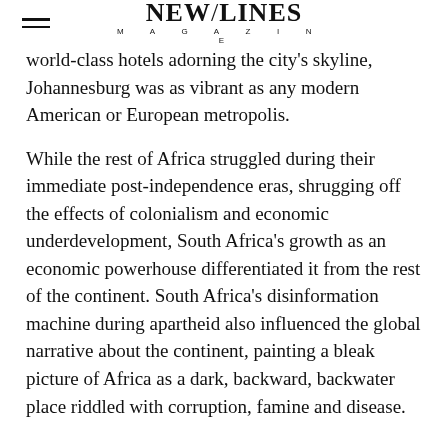NEW/LINES MAGAZINE
world-class hotels adorning the city's skyline, Johannesburg was as vibrant as any modern American or European metropolis.
While the rest of Africa struggled during their immediate post-independence eras, shrugging off the effects of colonialism and economic underdevelopment, South Africa's growth as an economic powerhouse differentiated it from the rest of the continent. South Africa's disinformation machine during apartheid also influenced the global narrative about the continent, painting a bleak picture of Africa as a dark, backward, backwater place riddled with corruption, famine and disease.